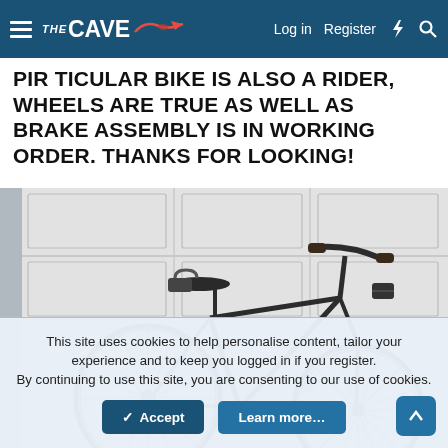THE CAVE — Log in | Register
PARTICULAR BIKE IS ALSO A RIDER, WHEELS ARE TRUE AS WELL AS BRAKE ASSEMBLY IS IN WORKING ORDER. THANKS FOR LOOKING!
[Figure (photo): Vintage black bicycle leaning against a white garage door, showing handlebars, saddle with lock, front fork, and two spoked wheels.]
This site uses cookies to help personalise content, tailor your experience and to keep you logged in if you register. By continuing to use this site, you are consenting to our use of cookies.